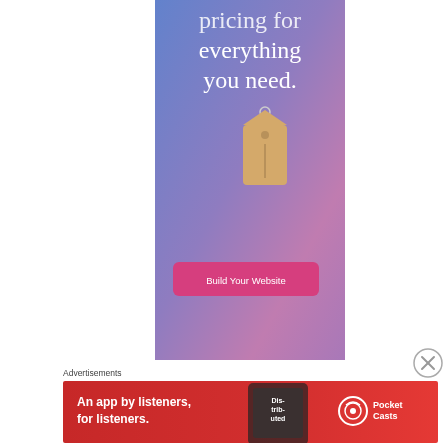[Figure (illustration): Advertisement banner with blue-to-purple-to-pink gradient background, white serif text reading 'pricing for everything you need.' with a hanging price tag illustration and a pink 'Build Your Website' button]
[Figure (other): Close/dismiss button (circle with X) at the right side]
Advertisements
[Figure (illustration): Red advertisement banner for Pocket Casts showing 'An app by listeners, for listeners.' with a phone and the Pocket Casts logo]